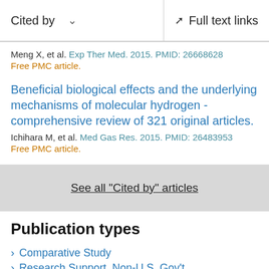Cited by   ∨   Full text links
Meng X, et al. Exp Ther Med. 2015. PMID: 26668628
Free PMC article.
Beneficial biological effects and the underlying mechanisms of molecular hydrogen - comprehensive review of 321 original articles.
Ichihara M, et al. Med Gas Res. 2015. PMID: 26483953
Free PMC article.
See all "Cited by" articles
Publication types
Comparative Study
Research Support, Non-U.S. Gov't